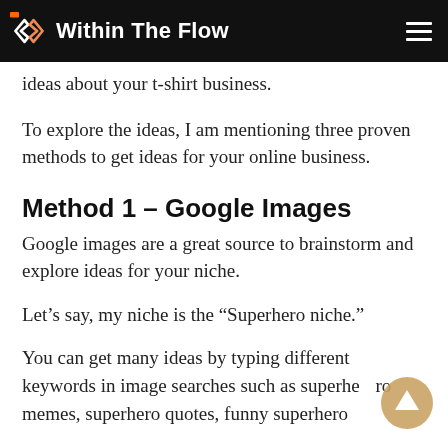Within The Flow
ideas about your t-shirt business.
To explore the ideas, I am mentioning three proven methods to get ideas for your online business.
Method 1 – Google Images
Google images are a great source to brainstorm and explore ideas for your niche.
Let’s say, my niche is the “Superhero niche.”
You can get many ideas by typing different keywords in image searches such as superhero memes, superhero quotes, funny superhero